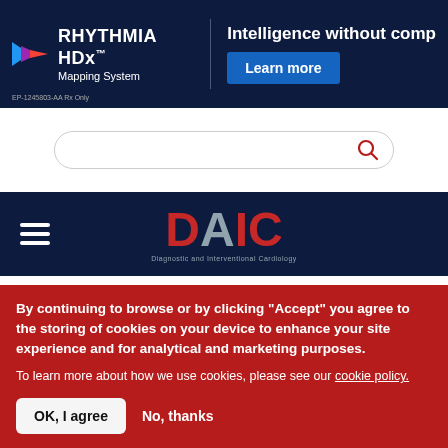[Figure (screenshot): RHYTHMIA HDx Mapping System advertisement banner with dark navy background, arrow logo, brand name, tagline 'Intelligence without comp...' and 'Learn more' blue button]
[Figure (screenshot): Search bar with rounded border and red magnifying glass icon]
[Figure (logo): DAIC (Diagnostic and Interventional Cardiology) logo with hamburger menu on dark navy navigation bar]
Videos
By continuing to browse or by clicking “Accept” you agree to the storing of cookies on your device to enhance your site experience and for analytical and marketing purposes.
To learn more about how we use cookies, please see our cookie policy.
OK, I agree
No, thanks